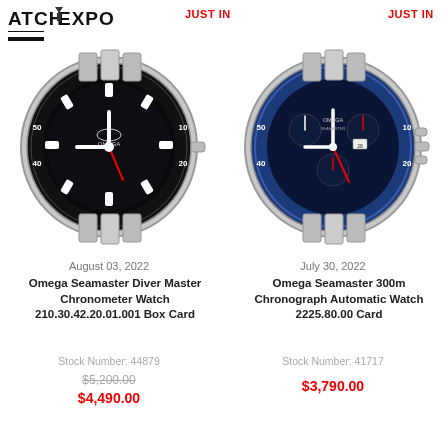ATCHEXPO
JUST IN
JUST IN
[Figure (photo): Omega Seamaster Diver Master Chronometer Watch with black dial and bezel, stainless steel bracelet]
August 03, 2022
Omega Seamaster Diver Master Chronometer Watch 210.30.42.20.01.001 Box Card
Stock Number: 44879
$5,200.00
$4,490.00
[Figure (photo): Omega Seamaster 300m Chronograph Automatic Watch with blue dial and bezel, stainless steel bracelet]
July 30, 2022
Omega Seamaster 300m Chronograph Automatic Watch 2225.80.00 Card
Stock Number: 41717
$3,790.00